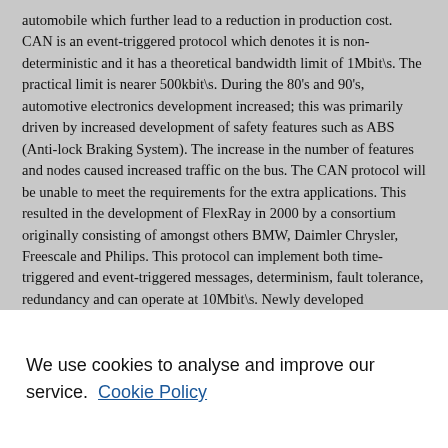automobile which further lead to a reduction in production cost. CAN is an event-triggered protocol which denotes it is non-deterministic and it has a theoretical bandwidth limit of 1Mbit\s. The practical limit is nearer 500kbit\s. During the 80's and 90's, automotive electronics development increased; this was primarily driven by increased development of safety features such as ABS (Anti-lock Braking System). The increase in the number of features and nodes caused increased traffic on the bus. The CAN protocol will be unable to meet the requirements for the extra applications. This resulted in the development of FlexRay in 2000 by a consortium originally consisting of amongst others BMW, Daimler Chrysler, Freescale and Philips. This protocol can implement both time-triggered and event-triggered messages, determinism, fault tolerance, redundancy and can operate at 10Mbit\s. Newly developed technologies have high initial costs therefore being initially more expensive than established technologies. This could result in it being financially unworkable
We use cookies to analyse and improve our service. Cookie Policy